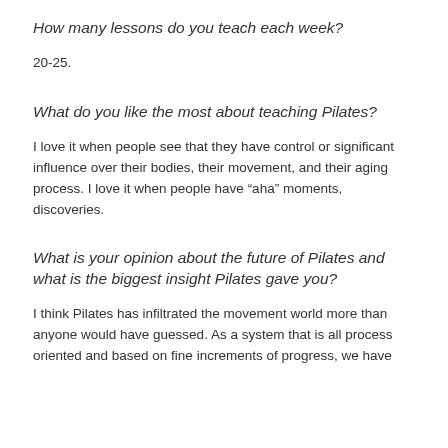How many lessons do you teach each week?
20-25.
What do you like the most about teaching Pilates?
I love it when people see that they have control or significant influence over their bodies, their movement, and their aging process. I love it when people have “aha” moments, discoveries.
What is your opinion about the future of Pilates and what is the biggest insight Pilates gave you?
I think Pilates has infiltrated the movement world more than anyone would have guessed. As a system that is all process oriented and based on fine increments of progress, we have